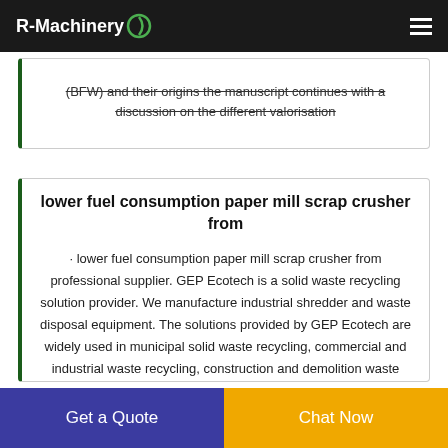R-Machinery
(BFW) and their origins the manuscript continues with a discussion on the different valorisation
lower fuel consumption paper mill scrap crusher from
· lower fuel consumption paper mill scrap crusher from professional supplier. GEP Ecotech is a solid waste recycling solution provider. We manufacture industrial shredder and waste disposal equipment. The solutions provided by GEP Ecotech are widely used in municipal solid waste recycling, commercial and industrial waste recycling, construction and demolition waste recycling. Plastic recycling and bag opening
Get a Quote
Chat Now